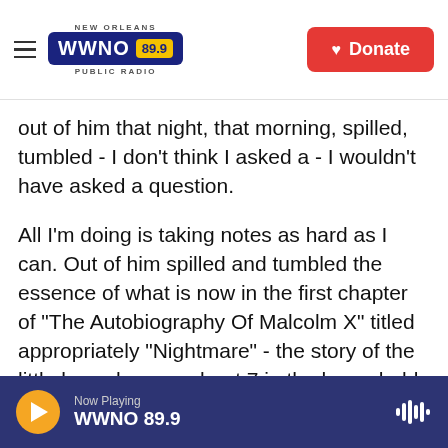NEW ORLEANS WWNO 89.9 PUBLIC RADIO | Donate
out of him that night, that morning, spilled, tumbled - I don't think I asked a - I wouldn't have asked a question.
All I'm doing is taking notes as hard as I can. Out of him spilled and tumbled the essence of what is now in the first chapter of "The Autobiography Of Malcolm X" titled appropriately "Nightmare" - the story of the little boy who was about 7 in the household with his mother with - I believe there were a total of seven children. And the mother was trying the best she could to hold them together, to feed them, to care for them, to just generally be the
Now Playing WWNO 89.9